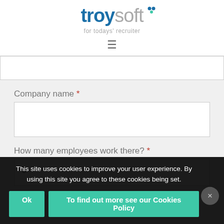[Figure (logo): Troysoft logo — 'troy' in bold blue, 'soft' in light gray, dots above, tagline 'for todays' recruiter' in gray]
≡
Company name *
How many employees work there? *
0
What is your m...
This site uses cookies to improve your user experience. By using this site you agree to these cookies being set.
Ok
To find out more see our Cookies Policy
×